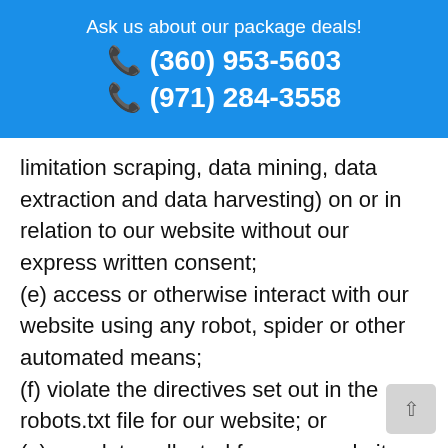Ask us about our package deals!
☎ (360) 953-5603
☎ (971) 284-3558
limitation scraping, data mining, data extraction and data harvesting) on or in relation to our website without our express written consent;
(e) access or otherwise interact with our website using any robot, spider or other automated means;
(f) violate the directives set out in the robots.txt file for our website; or
(g) use data collected from our website any direct marketing activity (including